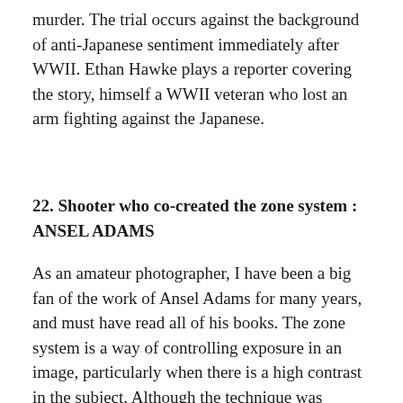murder. The trial occurs against the background of anti-Japanese sentiment immediately after WWII. Ethan Hawke plays a reporter covering the story, himself a WWII veteran who lost an arm fighting against the Japanese.
22. Shooter who co-created the zone system : ANSEL ADAMS
As an amateur photographer, I have been a big fan of the work of Ansel Adams for many years, and must have read all of his books. The zone system is a way of controlling exposure in an image, particularly when there is a high contrast in the subject. Although the technique was developed for black & white film primarily, it can even apply to digital images. In the digital world, the main technique is to expose on image for the highlights, and one or more images for the shadows. These images can then be combined giving a final image